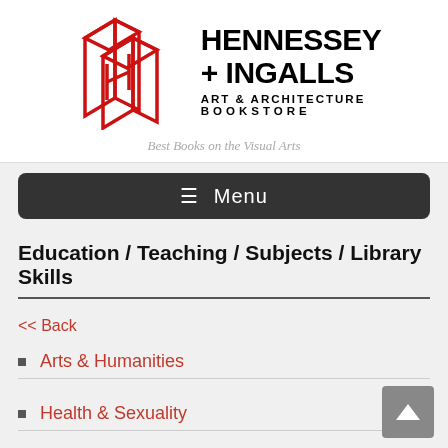[Figure (logo): Hennessey + Ingalls Art & Architecture Bookstore logo: red geometric stacked books icon on the left, bold black text on the right reading HENNESSEY + INGALLS / ART & ARCHITECTURE / BOOKSTORE]
Best Books on the Visual Arts
☰ Menu
Education / Teaching / Subjects / Library Skills
<< Back
Arts & Humanities
Health & Sexuality